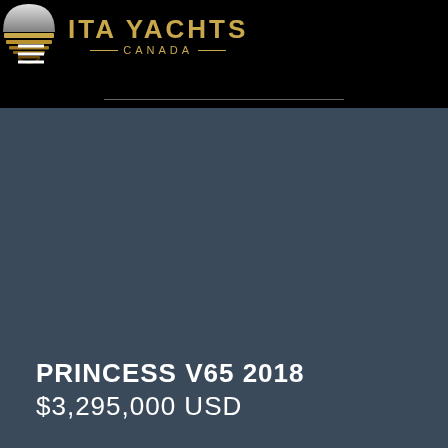[Figure (logo): ITA Yachts Canada logo with circular sunset icon and golden text]
[Figure (photo): Dark blue-grey background image area for yacht listing photo]
PRINCESS V65 2018
$3,295,000 USD